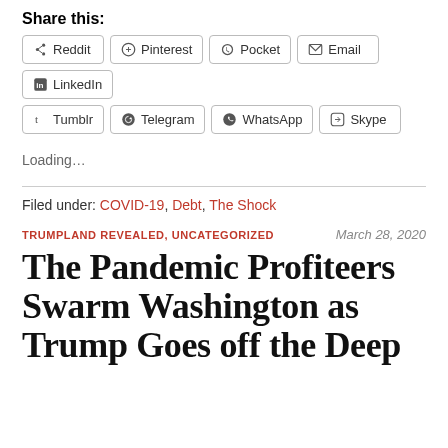Share this:
Reddit, Pinterest, Pocket, Email, LinkedIn, Tumblr, Telegram, WhatsApp, Skype
Loading...
Filed under: COVID-19, Debt, The Shock
TRUMPLAND REVEALED, UNCATEGORIZED   March 28, 2020
The Pandemic Profiteers Swarm Washington as Trump Goes off the Deep